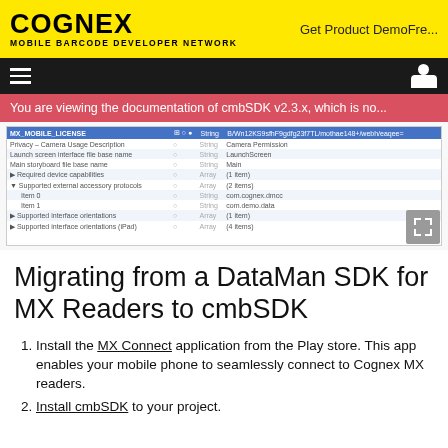COGNEX MOBILE BARCODE DEVELOPER NETWORK
Get Product DemoFre...
You are viewing the documentation of cmbSDK v2.3.x, which is no...
[Figure (screenshot): Screenshot of iOS plist configuration table showing MX_MOBILE_LICENSE and related settings]
Migrating from a DataMan SDK for MX Readers to cmbSDK
Install the MX Connect application from the Play store. This app enables your mobile phone to seamlessly connect to Cognex MX readers.
Install cmbSDK to your project.